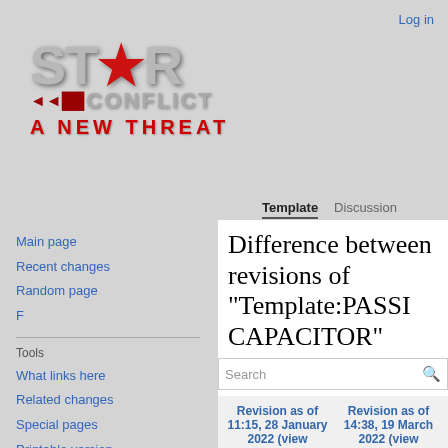Log in
[Figure (logo): Star Conflict: A New Threat game logo with stylized metallic STAR text, red star emblem, CONFLICT text with arrow design, and A NEW THREAT subtitle in red]
Template   Discussion
Main page
Recent changes
Random page
F
Tools
What links here
Related changes
Special pages
Printable version
Permanent link
Page information
Difference between revisions of "Template:PASSICAPACITOR"
| Revision as of 11:15, 28 January 2022 (view source) | Revision as of 14:38, 19 March 2022 (view source) |
| --- | --- |
| FIRE | FIRE |